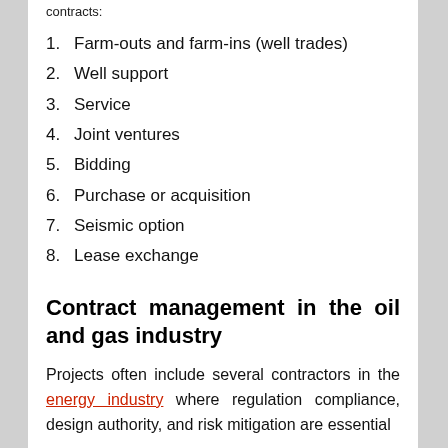contracts:
1. Farm-outs and farm-ins (well trades)
2. Well support
3. Service
4. Joint ventures
5. Bidding
6. Purchase or acquisition
7. Seismic option
8. Lease exchange
Contract management in the oil and gas industry
Projects often include several contractors in the energy industry where regulation compliance, design authority, and risk mitigation are essential